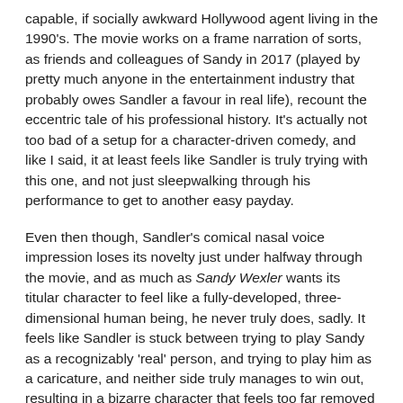capable, if socially awkward Hollywood agent living in the 1990's. The movie works on a frame narration of sorts, as friends and colleagues of Sandy in 2017 (played by pretty much anyone in the entertainment industry that probably owes Sandler a favour in real life), recount the eccentric tale of his professional history. It's actually not too bad of a setup for a character-driven comedy, and like I said, it at least feels like Sandler is truly trying with this one, and not just sleepwalking through his performance to get to another easy payday.
Even then though, Sandler's comical nasal voice impression loses its novelty just under halfway through the movie, and as much as Sandy Wexler wants its titular character to feel like a fully-developed, three-dimensional human being, he never truly does, sadly. It feels like Sandler is stuck between trying to play Sandy as a recognizably 'real' person, and trying to play him as a caricature, and neither side truly manages to win out, resulting in a bizarre character that feels too far removed from reality or farce. That's better than the agonizingly listless performance that Sandler gives in both The Ridiculous 6 and The Do-Over, but he still doesn't quite nail that sweet spot of making Sandy a lovable comic personality of his, seemingly an attempt to chase his highlight characters